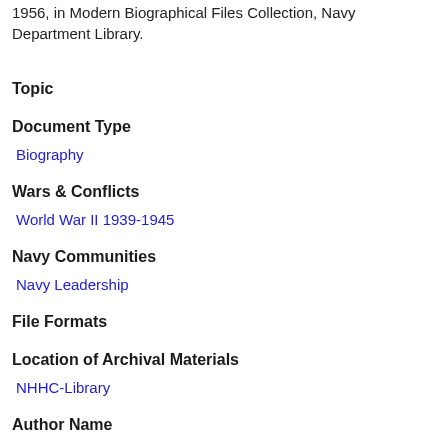1956, in Modern Biographical Files Collection, Navy Department Library.
Topic
Document Type
Biography
Wars & Conflicts
World War II 1939-1945
Navy Communities
Navy Leadership
File Formats
Location of Archival Materials
NHHC-Library
Author Name
Place of Event